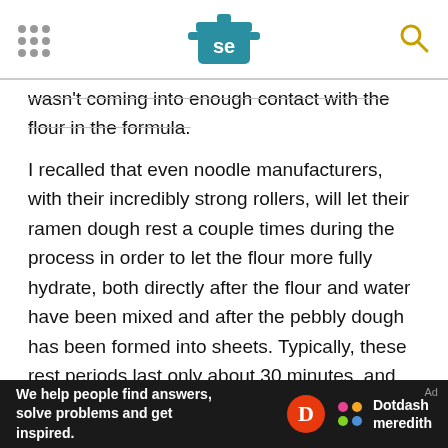Serious Eats header with navigation dots, SE logo, and search icon
wasn't coming into enough contact with the flour in the formula.
I recalled that even noodle manufacturers, with their incredibly strong rollers, will let their ramen dough rest a couple times during the process in order to let the flour more fully hydrate, both directly after the flour and water have been mixed and after the pebbly dough has been formed into sheets. Typically, these rest periods last only about 30 minutes, and the dough is often covered in plastic to prevent its exterior from drying out while the water and flour in its interior get to know one another a little better.
We help people find answers, solve problems and get inspired. Dotdash meredith